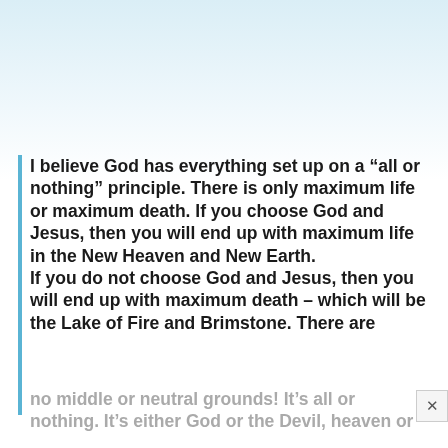I believe God has everything set up on a “all or nothing” principle. There is only maximum life or maximum death. If you choose God and Jesus, then you will end up with maximum life in the New Heaven and New Earth. If you do not choose God and Jesus, then you will end up with maximum death – which will be the Lake of Fire and Brimstone. There are no middle or neutral grounds! It’s all or nothing. It’s either God or the Devil, heaven or